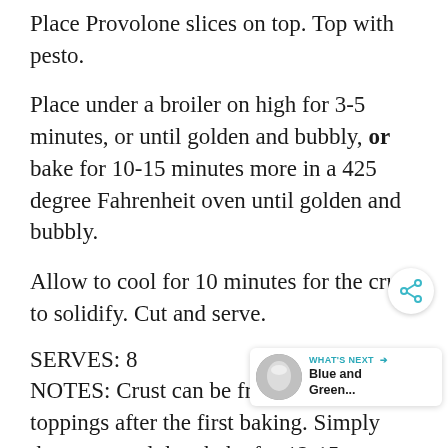Place Provolone slices on top. Top with pesto.
Place under a broiler on high for 3-5 minutes, or until golden and bubbly, or bake for 10-15 minutes more in a 425 degree Fahrenheit oven until golden and bubbly.
Allow to cool for 10 minutes for the crust to solidify. Cut and serve.
SERVES:  8
NOTES: Crust can be frozen without the toppings after the first baking. Simply thaw, top and then bake for 12-15 minutes in a [425] degree Fahrenheit oven.
Crust can be doubled, but extend baking time.
[Figure (other): Share button icon (circular button with share/network icon)]
[Figure (other): What's Next card widget showing a circular thumbnail image and text 'WHAT'S NEXT → Blue and Green...']